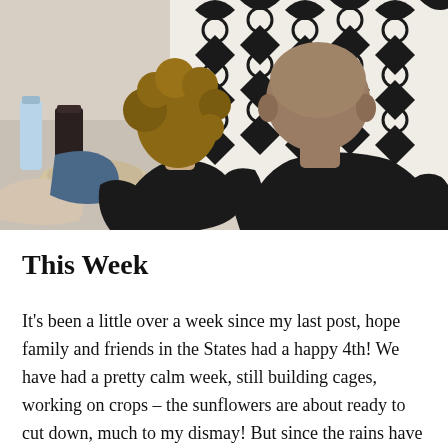[Figure (photo): Two people sitting together with backs to camera, one with curly light brown hair wearing a black top, one bald wearing a black shirt. Background shows a geometric black and white patterned curtain and some items on a table to the left.]
This Week
It's been a little over a week since my last post, hope family and friends in the States had a happy 4th! We have had a pretty calm week, still building cages, working on crops – the sunflowers are about ready to cut down, much to my dismay! But since the rains have still been coming pretty steady throughout the week I think we are going to go ahead and plant